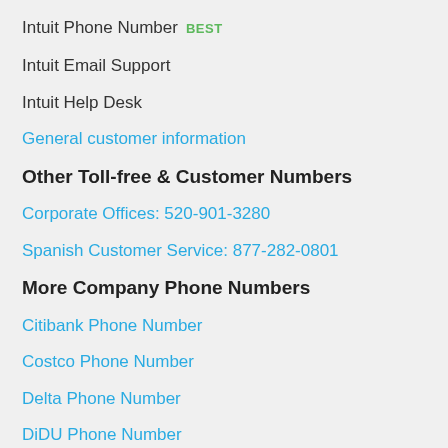Intuit Phone Number BEST
Intuit Email Support
Intuit Help Desk
General customer information
Other Toll-free & Customer Numbers
Corporate Offices: 520-901-3280
Spanish Customer Service: 877-282-0801
More Company Phone Numbers
Citibank Phone Number
Costco Phone Number
Delta Phone Number
DiDU Phone Number